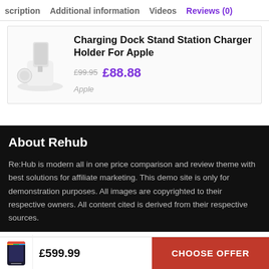scription  Additional information  Videos  Reviews (0)
[Figure (photo): Charging dock stand station product image - white dock for Apple devices]
Charging Dock Stand Station Charger Holder For Apple
£99.95 £88.88
Apple
About Rehub
Re:Hub is modern all in one price comparison and review theme with best solutions for affiliate marketing. This demo site is only for demonstration purposes. All images are copyrighted to their respective owners. All content cited is derived from their respective sources.
£599.99  CHOOSE OFFER